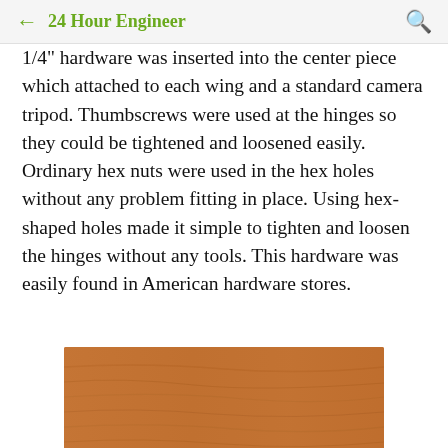24 Hour Engineer
1/4" hardware was inserted into the center piece which attached to each wing and a standard camera tripod. Thumbscrews were used at the hinges so they could be tightened and loosened easily. Ordinary hex nuts were used in the hex holes without any problem fitting in place. Using hex-shaped holes made it simple to tighten and loosen the hinges without any tools. This hardware was easily found in American hardware stores.
[Figure (photo): Close-up photo of wood grain surface, warm brown tones]